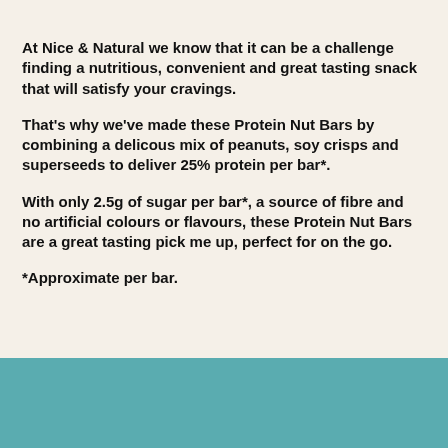At Nice & Natural we know that it can be a challenge finding a nutritious, convenient and great tasting snack that will satisfy your cravings.
That's why we've made these Protein Nut Bars by combining a delicous mix of peanuts, soy crisps and superseeds to deliver 25% protein per bar*.
With only 2.5g of sugar per bar*, a source of fibre and no artificial colours or flavours, these Protein Nut Bars are a great tasting pick me up, perfect for on the go.
*Approximate per bar.